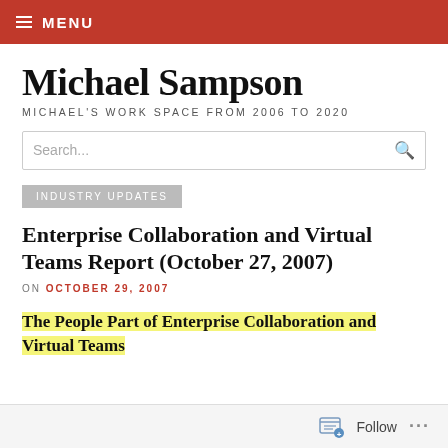≡ MENU
Michael Sampson
MICHAEL'S WORK SPACE FROM 2006 TO 2020
Search...
INDUSTRY UPDATES
Enterprise Collaboration and Virtual Teams Report (October 27, 2007)
ON OCTOBER 29, 2007
The People Part of Enterprise Collaboration and Virtual Teams
Follow ...